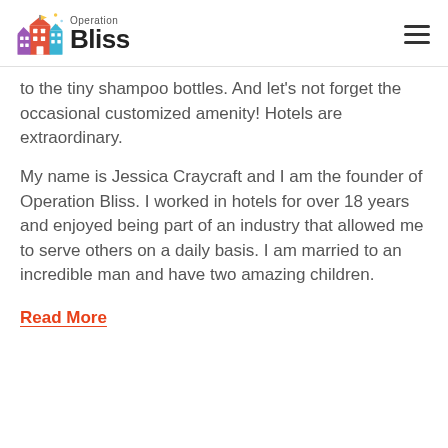Operation Bliss
to the tiny shampoo bottles. And let’s not forget the occasional customized amenity! Hotels are extraordinary.
My name is Jessica Craycraft and I am the founder of Operation Bliss. I worked in hotels for over 18 years and enjoyed being part of an industry that allowed me to serve others on a daily basis. I am married to an incredible man and have two amazing children.
Read More